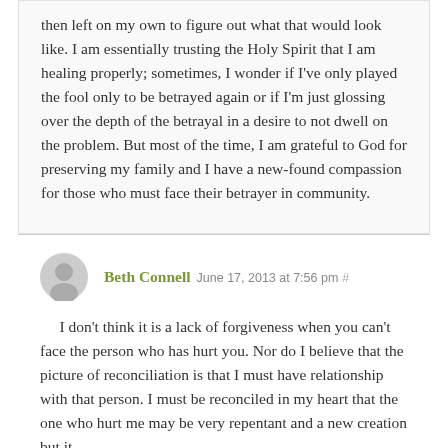then left on my own to figure out what that would look like. I am essentially trusting the Holy Spirit that I am healing properly; sometimes, I wonder if I've only played the fool only to be betrayed again or if I'm just glossing over the depth of the betrayal in a desire to not dwell on the problem. But most of the time, I am grateful to God for preserving my family and I have a new-found compassion for those who must face their betrayer in community.
Beth Connell June 17, 2013 at 7:56 pm #
I don't think it is a lack of forgiveness when you can't face the person who has hurt you. Nor do I believe that the picture of reconciliation is that I must have relationship with that person. I must be reconciled in my heart that the one who hurt me may be very repentant and a new creation but it